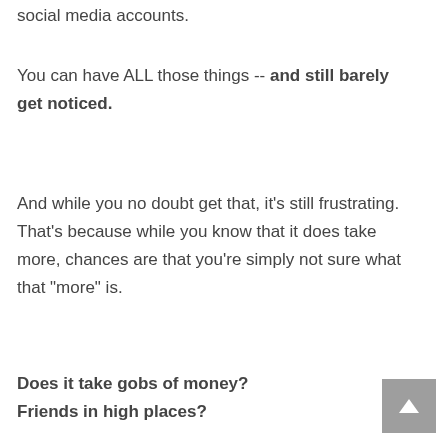social media accounts.
You can have ALL those things -- and still barely get noticed.
And while you no doubt get that, it's still frustrating. That's because while you know that it does take more, chances are that you're simply not sure what that "more" is.
Does it take gobs of money? Friends in high places?